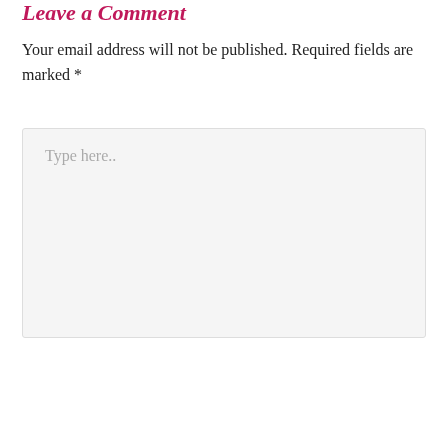Leave a Comment
Your email address will not be published. Required fields are marked *
[Figure (other): A large text input area (textarea) with placeholder text 'Type here..']